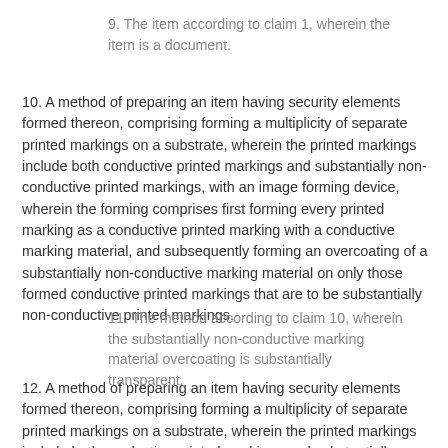9. The item according to claim 1, wherein the item is a document.
10. A method of preparing an item having security elements formed thereon, comprising forming a multiplicity of separate printed markings on a substrate, wherein the printed markings include both conductive printed markings and substantially non-conductive printed markings, with an image forming device, wherein the forming comprises first forming every printed marking as a conductive printed marking with a conductive marking material, and subsequently forming an overcoating of a substantially non-conductive marking material on only those formed conductive printed markings that are to be substantially non-conductive printed markings.
11. The method according to claim 10, wherein the substantially non-conductive marking material overcoating is substantially transparent.
12. A method of preparing an item having security elements formed thereon, comprising forming a multiplicity of separate printed markings on a substrate, wherein the printed markings include both conductive printed markings and substantially non-